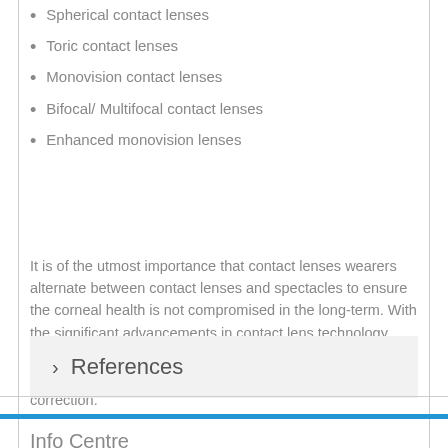Spherical contact lenses
Toric contact lenses
Monovision contact lenses
Bifocal/ Multifocal contact lenses
Enhanced monovision lenses
It is of the utmost importance that contact lenses wearers alternate between contact lenses and spectacles to ensure the corneal health is not compromised in the long-term. With the significant advancements in contact lens technology over the past decade, many more patients have a positive outcome with contact lenses for either full or part-time visual correction.
› References
Info Centre